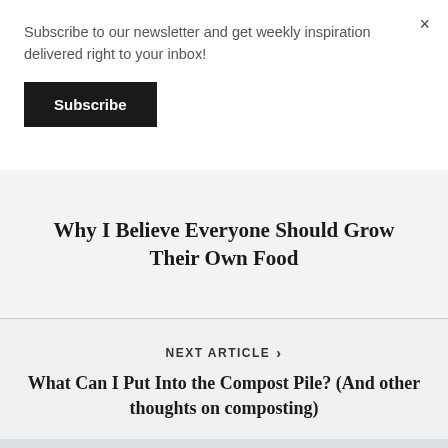Subscribe to our newsletter and get weekly inspiration delivered right to your inbox!
Subscribe
Why I Believe Everyone Should Grow Their Own Food
NEXT ARTICLE >
What Can I Put Into the Compost Pile? (And other thoughts on composting)